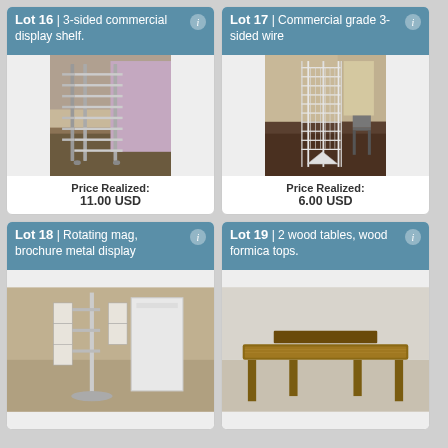Lot 16 | 3-sided commercial display shelf.
[Figure (photo): Photo of a 3-sided commercial display shelf unit with multiple tiers, silver metal frame, standing in a room.]
Price Realized: 11.00 USD
Lot 17 | Commercial grade 3-sided wire
[Figure (photo): Photo of a commercial grade 3-sided wire display rack, white, standing in a room.]
Price Realized: 6.00 USD
Lot 18 | Rotating mag, brochure metal display
[Figure (photo): Partial photo of a rotating magazine brochure metal display unit.]
Lot 19 | 2 wood tables, wood formica tops.
[Figure (photo): Partial photo showing wood tables with formica tops.]